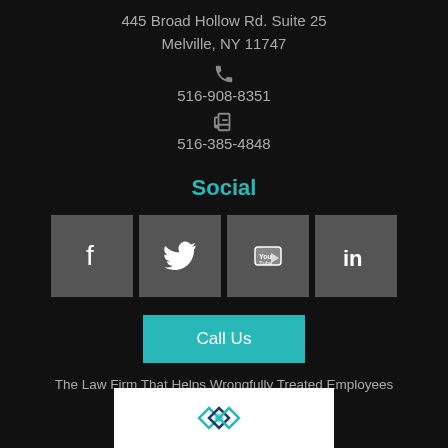445 Broad Hollow Rd. Suite 25
Melville, NY 11747
516-908-8351
516-385-4848
Social
[Figure (other): Social media icon buttons: Facebook, Twitter, YouTube, LinkedIn]
Call Us
The Law Firm That Helps Wrongfully Treated Employees
[Figure (logo): Law firm logo with teal diamond/geometric pattern on white background]